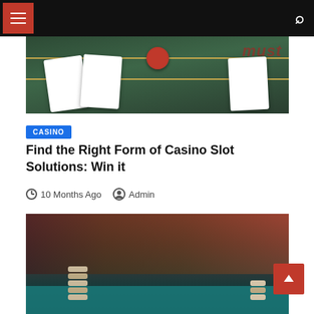Navigation bar with hamburger menu and search icon
[Figure (photo): Casino card table with cards and red poker chip, dark green felt with gold lines, red text watermark in background]
CASINO
Find the Right Form of Casino Slot Solutions: Win it
10 Months Ago  Admin
[Figure (photo): Casino floor scene with people in background, chip stacks on a teal gaming table]